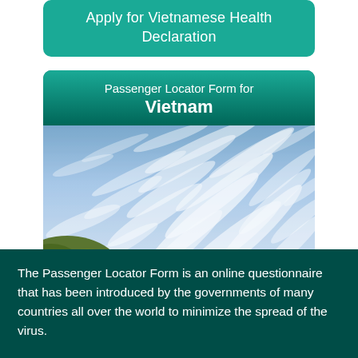Apply for Vietnamese Health Declaration
Passenger Locator Form for Vietnam
[Figure (photo): Sky photograph showing wispy cirrus clouds against a blue sky, with a green tree-covered hill visible in the lower left corner.]
The Passenger Locator Form is an online questionnaire that has been introduced by the governments of many countries all over the world to minimize the spread of the virus.